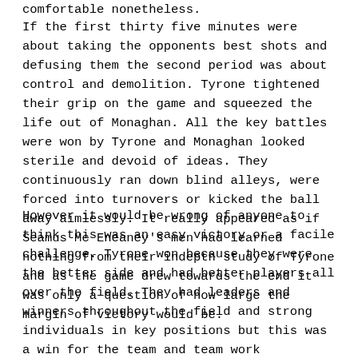comfortable nonetheless.
If the first thirty five minutes were about taking the opponents best shots and defusing them the second period was about control and demolition. Tyrone tightened their grip on the game and squeezed the life out of Monaghan. All the key battles were won by Tyrone and Monaghan looked sterile and devoid of ideas. They continuously ran down blind alleys, were forced into turnovers or kicked the ball away aimlessly. It really appeared as if Seamus Mc Eneaney's men had learned nothing from their indepth study of Tyrone and as the game drew towards the end it was only a question of how large the margin of victory would be.
However it would be wrong of anyone to think this was an easy victory or a facile challenge. Tyrone won because they were the better side and had better players all over the field. They had leaders and winners throughout the field and strong individuals in key positions but this was a win for the team and team work essentially. It looked as if every single eventuality had been covered and every possibility discussed and dealt with.